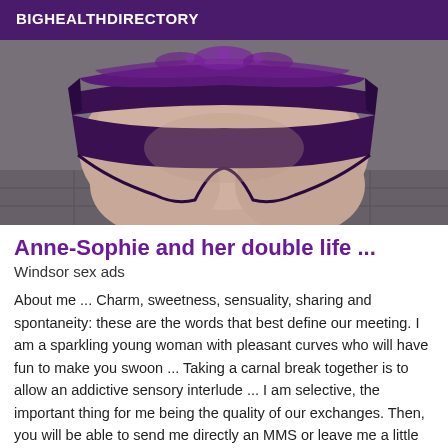BIGHEALTHDIRECTORY
[Figure (photo): Close-up photo of a person wearing dark purple/black lace underwear, cropped body shot from behind/side]
Anne-Sophie and her double life ...
Windsor sex ads
About me ... Charm, sweetness, sensuality, sharing and spontaneity: these are the words that best define our meeting. I am a sparkling young woman with pleasant curves who will have fun to make you swoon ... Taking a carnal break together is to allow an addictive sensory interlude ... I am selective, the important thing for me being the quality of our exchanges. Then, you will be able to send me directly an MMS or leave me a little